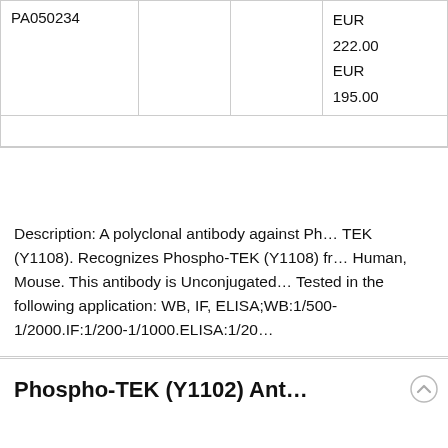| PA050234 |  |  | EUR
222.00
EUR
195.00 |
Description: A polyclonal antibody against Phospho-TEK (Y1108). Recognizes Phospho-TEK (Y1108) from Human, Mouse. This antibody is Unconjugated. Tested in the following application: WB, IF, ELISA;WB:1/500-1/2000.IF:1/200-1/1000.ELISA:1/20...
Phospho-TEK (Y1102) Antibody